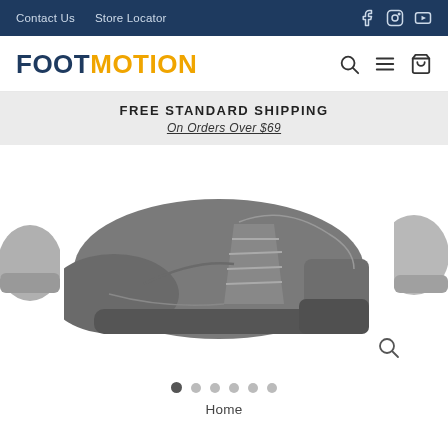Contact Us  Store Locator
FOOTMOTION
FREE STANDARD SHIPPING
On Orders Over $69
[Figure (photo): Black leather lace-up Oxford dress shoe displayed against white background. Partial views of other shoes visible on left and right edges. Zoom icon visible at bottom right.]
Home